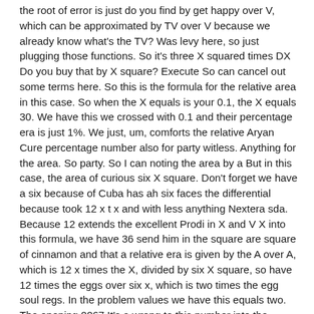the root of error is just do you find by get happy over V, which can be approximated by TV over V because we already know what's the TV? Was levy here, so just plugging those functions. So it's three X squared times DX Do you buy that by X square? Execute So can cancel out some terms here. So this is the formula for the relative area in this case. So when the X equals is your 0.1, the X equals 30. We have this we crossed with 0.1 and their percentage era is just 1%. We just, um, comforts the relative Aryan Cure percentage number also for party witless. Anything for the area. So party. So I can noting the area by a But in this case, the area of curious six X square. Don't forget we have a six because of Cuba has ah six faces the differential because took 12 x t x and with less anything Nextera sda. Because 12 extends the excellent Prodi in X and V X into this formula, we have 36 send him in the square are square of cinnamon and that a relative era is given by the A over A, which is 12 x times the X, divided by six X square, so have 12 times the eggs over six x, which is two times the egg soul regs. In the problem values we have this equals two. The opening 0067 It's a wrong to this number into the person page era just can run this preface, result to be a person did so it's 0.67%.